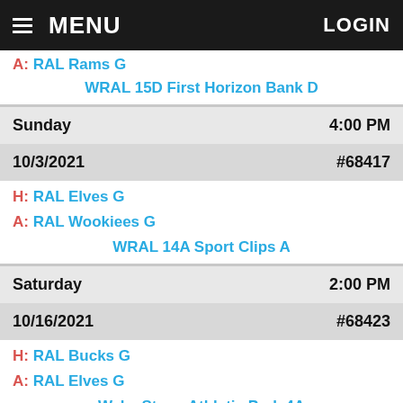MENU  LOGIN
A: RAL Rams G
WRAL 15D First Horizon Bank D
| Day | Time | Date | GameID |
| --- | --- | --- | --- |
| Sunday | 4:00 PM |
| 10/3/2021 | #68417 |
H: RAL Elves G
A: RAL Wookiees G
WRAL 14A Sport Clips A
| Day | Time | Date | GameID |
| --- | --- | --- | --- |
| Saturday | 2:00 PM |
| 10/16/2021 | #68423 |
H: RAL Bucks G
A: RAL Elves G
Wake Stone Athletic Park 4A